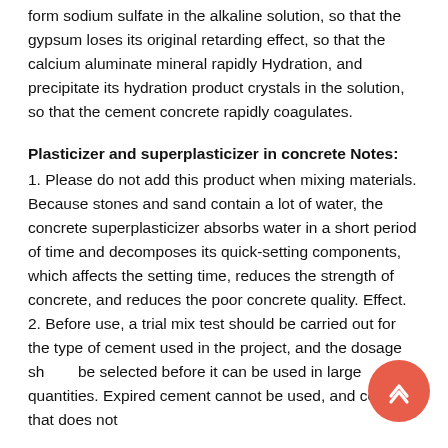form sodium sulfate in the alkaline solution, so that the gypsum loses its original retarding effect, so that the calcium aluminate mineral rapidly Hydration, and precipitate its hydration product crystals in the solution, so that the cement concrete rapidly coagulates.
Plasticizer and superplasticizer in concrete Notes:
1. Please do not add this product when mixing materials. Because stones and sand contain a lot of water, the concrete superplasticizer absorbs water in a short period of time and decomposes its quick-setting components, which affects the setting time, reduces the strength of concrete, and reduces the poor concrete quality. Effect.
2. Before use, a trial mix test should be carried out for the type of cement used in the project, and the dosage should be selected before it can be used in large quantities. Expired cement cannot be used, and cement that does not